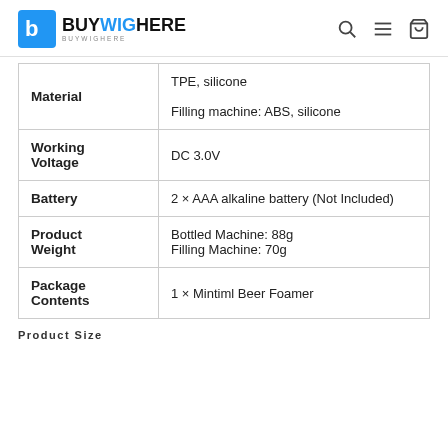BUYWIGHERE
| Attribute | Value |
| --- | --- |
| Material | TPE, silicone

Filling machine: ABS, silicone |
| Working Voltage | DC 3.0V |
| Battery | 2 × AAA alkaline battery (Not Included) |
| Product Weight | Bottled Machine: 88g
Filling Machine: 70g |
| Package Contents | 1 × Mintiml Beer Foamer |
Product Size